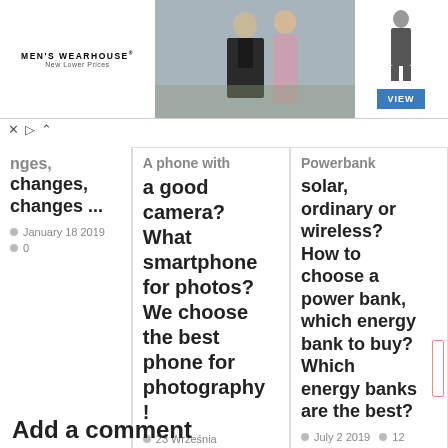[Figure (photo): Men's Wearhouse advertisement banner with couple in formalwear, single suited figure, and VIEW button]
nges, changes, changes ...
January 18 2019  0
A phone with a good camera? What smartphone for photos? We choose the best phone for photography!
23 Września 2020  36
Powerbank solar, ordinary or wireless? How to choose a power bank, which energy bank to buy? Which energy banks are the best?
July 2 2019  12
Add a comment